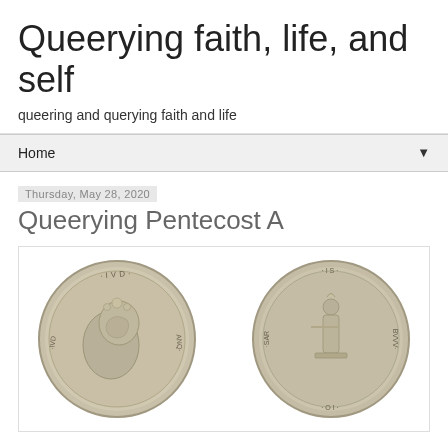Queerying faith, life, and self
queering and querying faith and life
Home
Thursday, May 28, 2020
Queerying Pentecost A
[Figure (photo): Two sides of an ancient Roman silver coin (denarius). Left side shows a portrait bust facing right with wreath/floral decoration on head and inscriptions around the edge. Right side shows a standing figure (deity or personification) with inscriptions around the edge.]